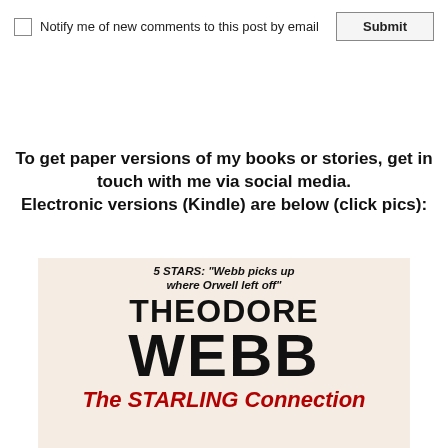Notify me of new comments to this post by email
Submit
To get paper versions of my books or stories, get in touch with me via social media.
Electronic versions (Kindle) are below (click pics):
[Figure (illustration): Book cover for Theodore Webb 'The Starling Connection' featuring 5-star review quote: 'Webb picks up where Orwell left off']